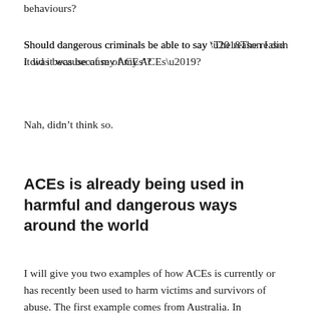behaviours?
Should dangerous criminals be able to say ‘The reason I did it was because of my ACEs’?
Nah, didn’t think so.
ACEs is already being used in harmful and dangerous ways around the world
I will give you two examples of how ACEs is currently or has recently been used to harm victims and survivors of abuse. The first example comes from Australia. In